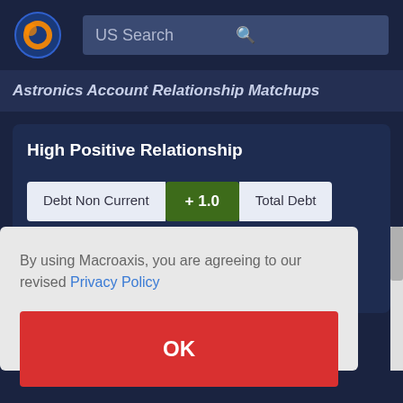[Figure (logo): Macroaxis logo: orange and blue circular icon]
US Search
Astronics Account Relationship Matchups
High Positive Relationship
Debt Non Current  + 1.0  Total Debt
By using Macroaxis, you are agreeing to our revised Privacy Policy
OK